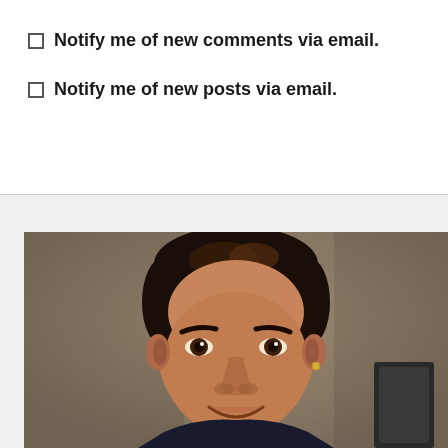Notify me of new comments via email.
Notify me of new posts via email.
[Figure (photo): Portrait photo of a young man with dark hair smiling at the camera, against an indoor background.]